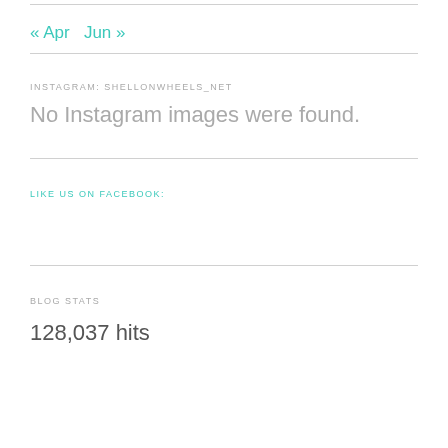« Apr   Jun »
INSTAGRAM: SHELLONWHEELS_NET
No Instagram images were found.
LIKE US ON FACEBOOK:
BLOG STATS
128,037 hits